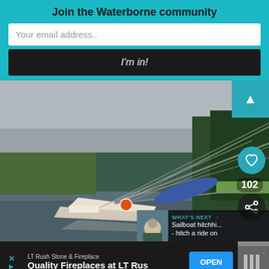Join the Waterborne community
Your email address..
I'm in!
[Figure (photo): A sailboat heavily listing to one side in a calm river or inlet, with its mast nearly horizontal. Dense evergreen forest on the right bank, overcast sky. Small 'What's Next' overlay in bottom right showing a thumbnail and text: 'Sailboat hitchhi... - hitch a ride on'. Heart icon with like count 102 and a share icon visible on right side.]
WHAT'S NEXT → Sailboat hitchhi... - hitch a ride on
LT Rush Stone & Fireplace  Quality Fireplaces at LT Rus  OPEN